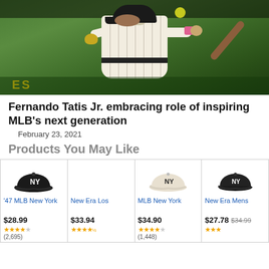[Figure (photo): Baseball player Fernando Tatis Jr. in San Diego Padres pinstripe uniform swinging a bat, with green field background]
Fernando Tatis Jr. embracing role of inspiring MLB's next generation
February 23, 2021
Products You May Like
| Product | Price | Rating | Reviews |
| --- | --- | --- | --- |
| '47 MLB New York | $28.99 | ★★★★☆ | (2,695) |
| New Era Los | $33.94 | ★★★★☆ |  |
| MLB New York | $34.90 | ★★★★☆ | (1,448) |
| New Era Mens | $27.78 ($34.99) | ★★★☆ |  |